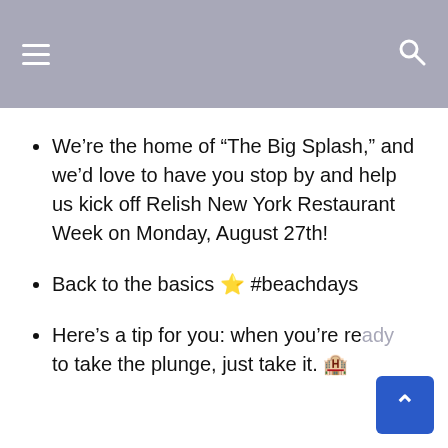We’re the home of “The Big Splash,” and we’d love to have you stop by and help us kick off Relish New York Restaurant Week on Monday, August 27th!
Back to the basics ⭐ #beachdays
Here’s a tip for you: when you’re ready to take the plunge, just take it. 🦀